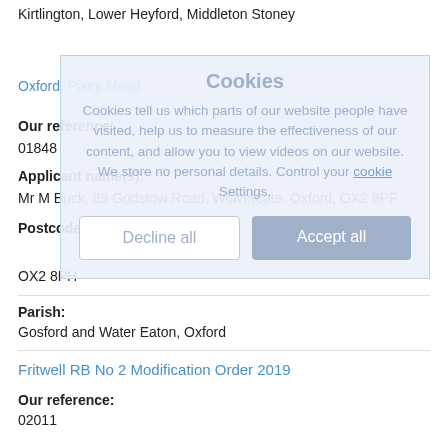Kirtlington, Lower Heyford, Middleton Stoney
Oxford, Pixey Mead
Our reference:
01848
Applicant name(s):
Mr M Buck, 89 Godstow Road, Wolvercote, Oxford, OX2 8PF
Postcode(s):
OX2 8PH
Parish:
Gosford and Water Eaton, Oxford
Fritwell RB No 2 Modification Order 2019
Our reference:
02011